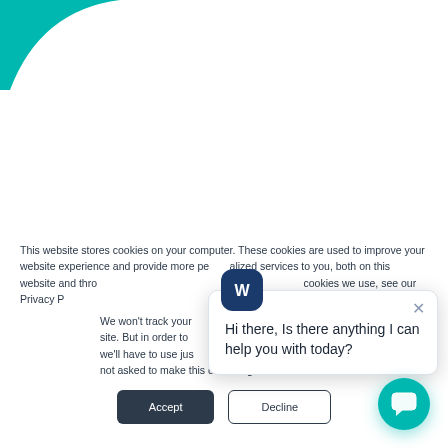[Figure (illustration): Teal decorative curved shape in top-left corner of the page, partial arc/wave design]
This website stores cookies on your computer. These cookies are used to improve your website experience and provide more personalized services to you, both on this website and through other media. To find out more about the cookies we use, see our Privacy P[olicy].
We won't track your [information] site. But in order to [comply] we'll have to use jus[t one tiny] not asked to make this choice again.
[Figure (screenshot): Chat popup widget showing a Writco/W logo icon and the message: Hi there, Is there anything I can help you with today? with a close (X) button]
Hi there, Is there anything I can help you with today?
[Figure (illustration): Accept button (dark navy/slate background with white text) and Decline button (white background with dark border and text)]
[Figure (illustration): Teal circular chat launcher button in bottom-right corner with chat bubble icon]